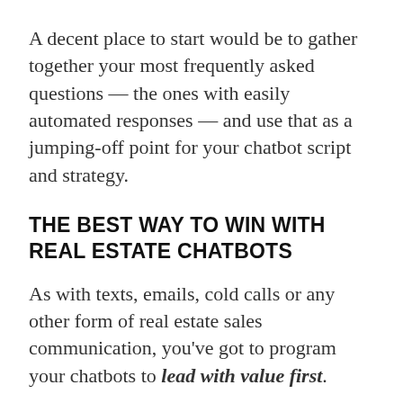A decent place to start would be to gather together your most frequently asked questions — the ones with easily automated responses — and use that as a jumping-off point for your chatbot script and strategy.
THE BEST WAY TO WIN WITH REAL ESTATE CHATBOTS
As with texts, emails, cold calls or any other form of real estate sales communication, you've got to program your chatbots to lead with value first.
While you do want your chatbot to help generate leads, you don't want to overwhelm your prospect with dozens of